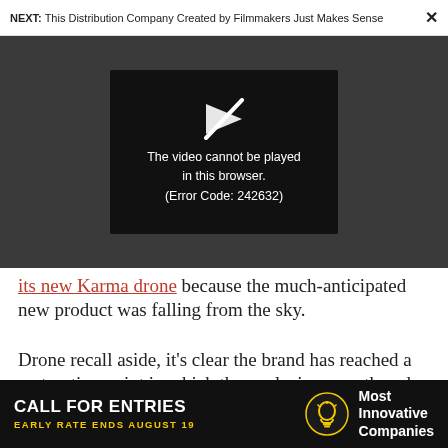NEXT: This Distribution Company Created by Filmmakers Just Makes Sense  ×
[Figure (screenshot): Video player showing error: 'The video cannot be played in this browser. (Error Code: 242632)' on dark background with a broken play button icon.]
its new Karma drone because the much-anticipated new product was falling from the sky.
Drone recall aside, it's clear the brand has reached a maturation point in which the explosive growth and
[Figure (infographic): Advertisement banner: CALL FOR ENTRIES / EARLY RATE ENDS AUGUST 19 / lightbulb icon / Most Innovative Companies]